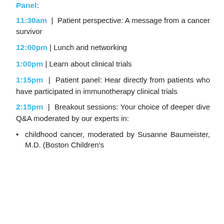Panel:
11:30am | Patient perspective: A message from a cancer survivor
12:00pm | Lunch and networking
1:00pm | Learn about clinical trials
1:15pm | Patient panel: Hear directly from patients who have participated in immunotherapy clinical trials
2:15pm | Breakout sessions: Your choice of deeper dive Q&A moderated by our experts in:
childhood cancer, moderated by Susanne Baumeister, M.D. (Boston Children's